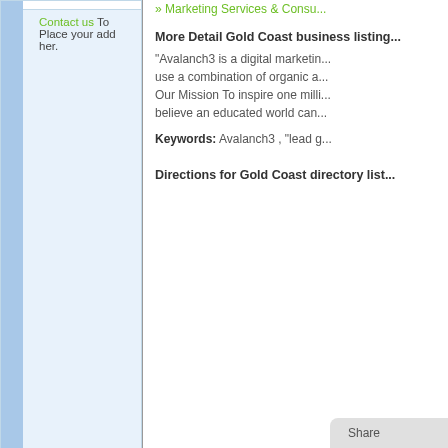Contact us To Place your add her.
» Marketing Services & Consu...
More Detail Gold Coast business listing...
"Avalanch3 is a digital marketing... use a combination of organic a... Our Mission To inspire one milli... believe an educated world can...
Keywords: Avalanch3 , "lead g...
Directions for Gold Coast directory list...
Share